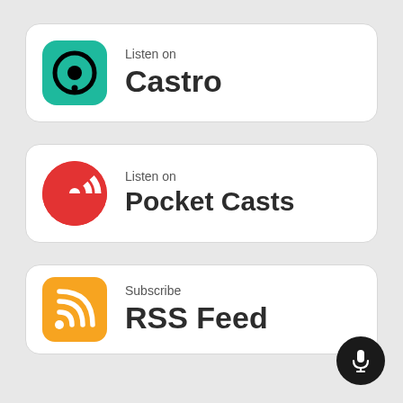[Figure (logo): Listen on Castro button card with Castro app icon (teal rounded square with podcast symbol) and text 'Listen on Castro']
[Figure (logo): Listen on Pocket Casts button card with Pocket Casts app icon (red circle with wave pattern) and text 'Listen on Pocket Casts']
[Figure (logo): Subscribe RSS Feed button card with RSS icon (orange rounded square with wifi/RSS symbol) and text 'Subscribe RSS Feed']
[Figure (other): Microphone FAB button in bottom right corner, black circle with white microphone icon]